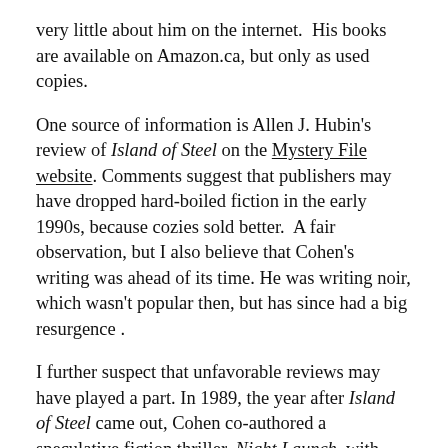very little about him on the internet.  His books are available on Amazon.ca, but only as used copies.
One source of information is Allen J. Hubin's review of Island of Steel on the Mystery File website. Comments suggest that publishers may have dropped hard-boiled fiction in the early 1990s, because cozies sold better.  A fair observation, but I also believe that Cohen's writing was ahead of its time. He was writing noir, which wasn't popular then, but has since had a big resurgence .
I further suspect that unfavorable reviews may have played a part. In 1989, the year after Island of Steel came out, Cohen co-authored a speculative fiction thriller, Night Launch, with then Senator Jake Garn. The book should have been a slam dunk for both authors, but  Publishers Weekly gave it a thumbs down.  Did William Morrow drop Cohen because of